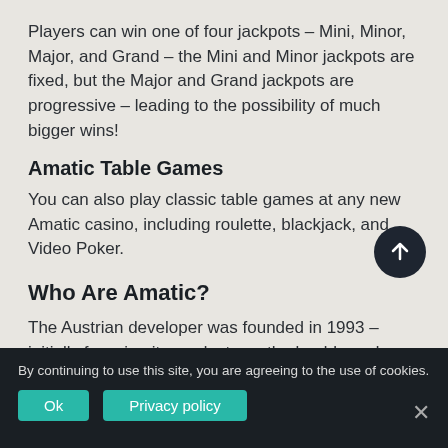Players can win one of four jackpots – Mini, Minor, Major, and Grand – the Mini and Minor jackpots are fixed, but the Major and Grand jackpots are progressive – leading to the possibility of much bigger wins!
Amatic Table Games
You can also play classic table games at any new Amatic casino, including roulette, blackjack, and Video Poker.
Who Are Amatic?
The Austrian developer was founded in 1993 – initially focusing its products on the land-based market, before delving into online gaming solutions.
By continuing to use this site, you are agreeing to the use of cookies.